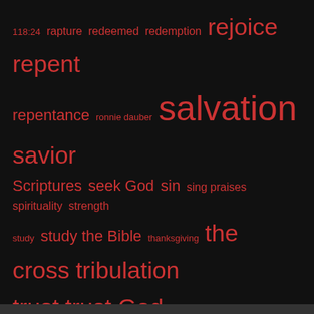[Figure (infographic): Word cloud with religious terms in varying sizes in red on black background. Terms include: 118:24, rapture, redeemed, redemption, rejoice (large), repent (large), repentance, ronnie dauber, salvation (very large), savior (large), Scriptures, seek God, sin, sing praises, spirituality, strength, study, study the Bible, thanksgiving, the cross (large), tribulation (large), trust, trust God (large), truth, victory, wisdom, worship]
SOCIAL
[Figure (infographic): Social media icons: Facebook (red square with f), Twitter (red square with bird), LinkedIn (in italic text)]
[Figure (infographic): Follow button: WordPress circle logo followed by text 'Follow Smile, God Loves You!' on cyan/teal background]